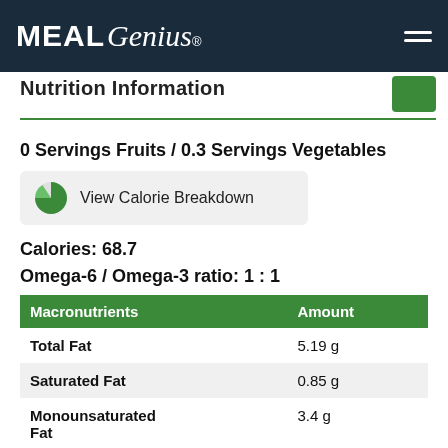MEAL Genius®
Nutrition Information
0 Servings Fruits / 0.3 Servings Vegetables
[Figure (other): View Calorie Breakdown button with pie chart icon]
Calories: 68.7
Omega-6 / Omega-3 ratio: 1 : 1
| Macronutrients | Amount |
| --- | --- |
| Total Fat | 5.19 g |
| Saturated Fat | 0.85 g |
| Monounsaturated Fat | 3.4 g |